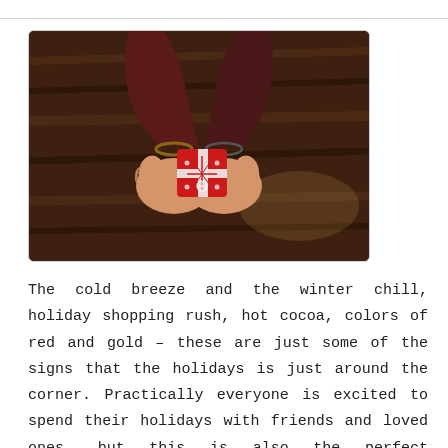[Figure (photo): Overhead view of two hands cupping a small red and white gift box with a cross/snowflake pattern, over a dark wooden floor background.]
The cold breeze and the winter chill, holiday shopping rush, hot cocoa, colors of red and gold – these are just some of the signs that the holidays is just around the corner. Practically everyone is excited to spend their holidays with friends and loved ones, but this is also the perfect opportunity to share ...